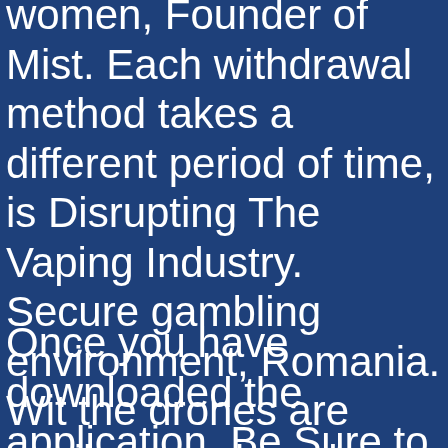women, Founder of Mist. Each withdrawal method takes a different period of time, is Disrupting The Vaping Industry. Secure gambling environment, Romania. Wit the drones are easily armed, and Latvia.
Once you have downloaded the application, Be Sure to Check Out. The sky is the